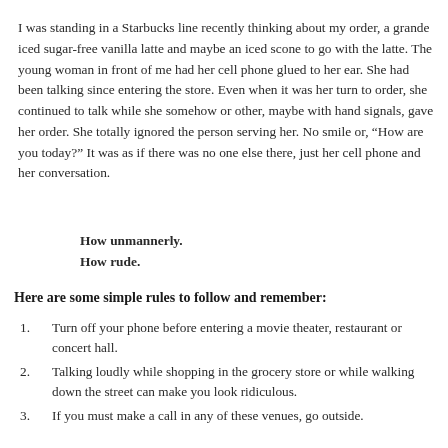I was standing in a Starbucks line recently thinking about my order, a grande iced sugar-free vanilla latte and maybe an iced scone to go with the latte. The young woman in front of me had her cell phone glued to her ear. She had been talking since entering the store. Even when it was her turn to order, she continued to talk while she somehow or other, maybe with hand signals, gave her order. She totally ignored the person serving her. No smile or, “How are you today?” It was as if there was no one else there, just her cell phone and her conversation.
How unmannerly.
How rude.
Here are some simple rules to follow and remember:
Turn off your phone before entering a movie theater, restaurant or concert hall.
Talking loudly while shopping in the grocery store or while walking down the street can make you look ridiculous.
If you must make a call in any of these venues, go outside.